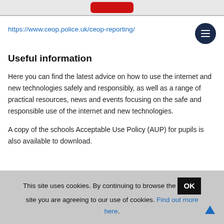[Figure (screenshot): Top banner with red button partially visible]
https://www.ceop.police.uk/ceop-reporting/
Useful information
Here you can find the latest advice on how to use the internet and new technologies safely and responsibly, as well as a range of practical resources, news and events focusing on the safe and responsible use of the internet and new technologies.
A copy of the schools Acceptable Use Policy (AUP) for pupils is also available to download.
This site uses cookies. By continuing to browse the site you are agreeing to our use of cookies. Find out more here.